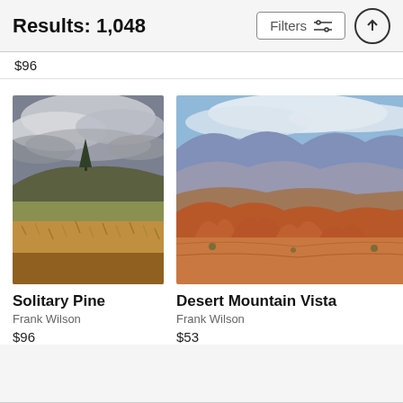Results: 1,048
Filters
$96
[Figure (photo): Landscape photograph showing a solitary pine tree on a hill with dramatic stormy clouds above and golden-green shrubby vegetation in the foreground]
Solitary Pine
Frank Wilson
$96
[Figure (photo): Desert mountain vista landscape photograph showing red rock formations in the foreground, layered purple-blue mountains in the middle distance, and clouds above]
Desert Mountain Vista
Frank Wilson
$53